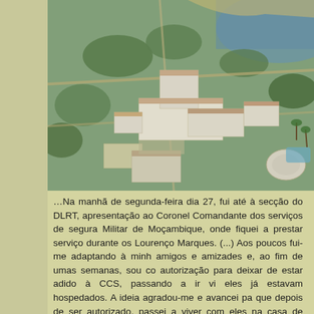[Figure (photo): Aerial photograph of a coastal area showing large white multi-storey buildings (military or institutional complex) surrounded by trees, roads, and a beach/ocean visible in the upper right background. The scene appears to be in Mozambique (Lourenço Marques / Maputo area).]
…Na manhã de segunda-feira dia 27, fui até à secção do DLRT, apresentação ao Coronel Comandante dos serviços de segura Militar de Moçambique, onde fiquei a prestar serviço durante os Lourenço Marques. (...) Aos poucos fui-me adaptando à minh amigos e amizades e, ao fim de umas semanas, sou co autorização para deixar de estar adido à CCS, passando a ir vi eles já estavam hospedados. A ideia agradou-me e avancei pa que depois de ser autorizado, passei a viver com eles na casa de Vizela, na Rua António Enes nº 244, na Polana, situada a meu trabalho, no Quartel General (…) Sem dinheiro r